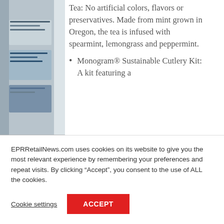[Figure (photo): Partial view of product packaging or store shelves on the left side of the page]
Tea: No artificial colors, flavors or preservatives. Made from mint grown in Oregon, the tea is infused with spearmint, lemongrass and peppermint.
Monogram® Sustainable Cutlery Kit: A kit featuring a
EPRRetailNews.com uses cookies on its website to give you the most relevant experience by remembering your preferences and repeat visits. By clicking “Accept”, you consent to the use of ALL the cookies.
Cookie settings
ACCEPT